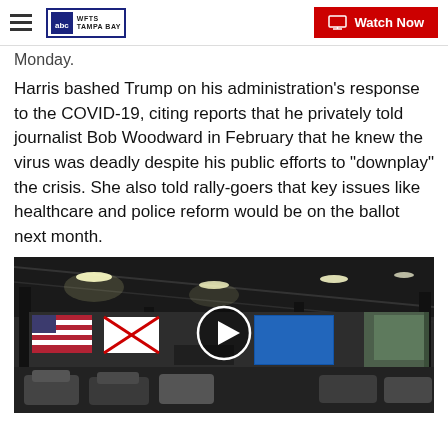WFTS Tampa Bay | Watch Now
Monday.
Harris bashed Trump on his administration's response to the COVID-19, citing reports that he privately told journalist Bob Woodward in February that he knew the virus was deadly despite his public efforts to "downplay" the crisis. She also told rally-goers that key issues like healthcare and police reform would be on the ballot next month.
[Figure (photo): Indoor rally venue with cars parked inside a large warehouse-style structure with metal roof. American flag and Florida state flag visible at the back. A play button overlay indicates this is a video thumbnail.]